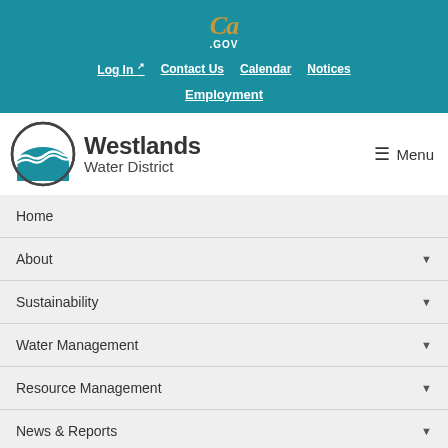[Figure (logo): CA.gov logo in gold/orange script with .GOV text below]
Log In | Contact Us | Calendar | Notices
Employment
[Figure (logo): Westlands Water District circular logo with blue water waves]
Westlands Water District
Menu
Home
About
Sustainability
Water Management
Resource Management
News & Reports